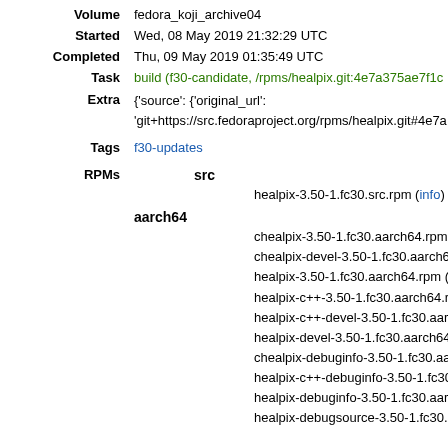Volume: fedora_koji_archive04
Started: Wed, 08 May 2019 21:32:29 UTC
Completed: Thu, 09 May 2019 01:35:49 UTC
Task: build (f30-candidate, /rpms/healpix.git:4e7a375ae7f1c...
Extra: {'source': {'original_url': 'git+https://src.fedoraproject.org/rpms/healpix.git#4e7a...
Tags: f30-updates
RPMs src: healpix-3.50-1.fc30.src.rpm (info) (download)
aarch64: chealpix-3.50-1.fc30.aarch64.rpm (info) (do...
chealpix-devel-3.50-1.fc30.aarch64.rpm (inf...
healpix-3.50-1.fc30.aarch64.rpm (info) (dow...
healpix-c++-3.50-1.fc30.aarch64.rpm (info)
healpix-c++-devel-3.50-1.fc30.aarch64.rpm
healpix-devel-3.50-1.fc30.aarch64.rpm (inf...
chealpix-debuginfo-3.50-1.fc30.aarch64.rpm
healpix-c++-debuginfo-3.50-1.fc30.aarch64...
healpix-debuginfo-3.50-1.fc30.aarch64.rpm
healpix-debugsource-3.50-1.fc30.aarch64.r...